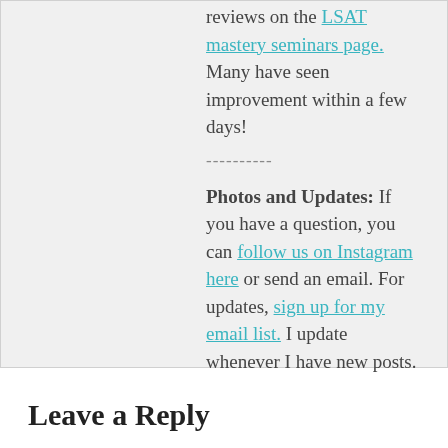reviews on the LSAT mastery seminars page. Many have seen improvement within a few days!
----------
Photos and Updates: If you have a question, you can follow us on Instagram here or send an email. For updates, sign up for my email list. I update whenever I have new posts.
Leave a Reply